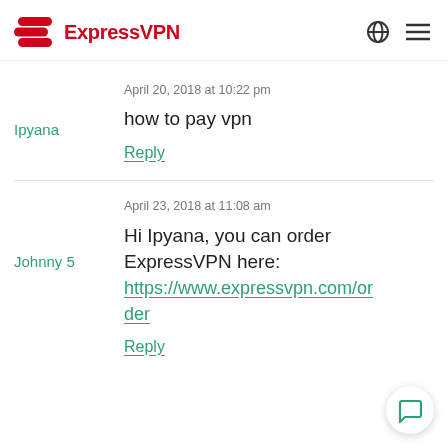ExpressVPN
April 20, 2018 at 10:22 pm
how to pay vpn
Ipyana
Reply
April 23, 2018 at 11:08 am
Hi Ipyana, you can order ExpressVPN here: https://www.expressvpn.com/order
Johnny 5
Reply